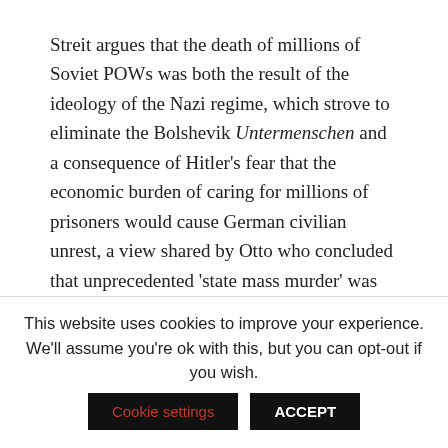Streit argues that the death of millions of Soviet POWs was both the result of the ideology of the Nazi regime, which strove to eliminate the Bolshevik Untermenschen and a consequence of Hitler's fear that the economic burden of caring for millions of prisoners would cause German civilian unrest, a view shared by Otto who concluded that unprecedented 'state mass murder' was committed,[5] and Gerlach, who describes a 'conscious policy of murder'.[6]
Bartov, who examines the conduct and 'barbarisation' of German troops on the Eastern front (including their treatment of Soviet POWs),
This website uses cookies to improve your experience. We'll assume you're ok with this, but you can opt-out if you wish. Cookie settings ACCEPT